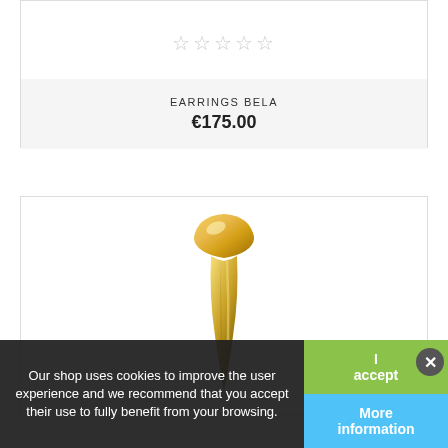[Figure (other): Five empty star rating icons]
EARRINGS BELA
€175.00
[Figure (photo): Gold jewelry piece (earring or pendant) with a teardrop/cone shaped gold top, shown from above on white background]
Our shop uses cookies to improve the user experience and we recommend that you accept their use to fully benefit from your browsing.
I accept
More information